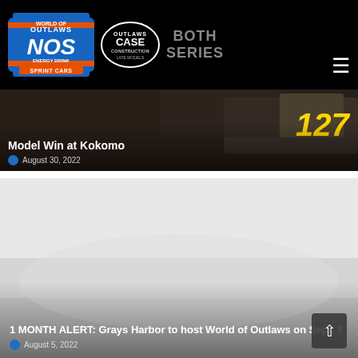[Figure (logo): World of Outlaws NOS Energy Drink Sprint Cars logo]
[Figure (logo): World of Outlaws CASE Construction Equipment Late Models logo]
BOTH SERIES
[Figure (photo): Racing late model car with number 127, dark photo background]
Model Win at Kokomo
August 30, 2022
[Figure (photo): Light gray/foggy outdoor racing venue photo]
1 MONTH ALERT: Grays Harbor to host World of Outlaws on Sept. 5
August 5, 2022